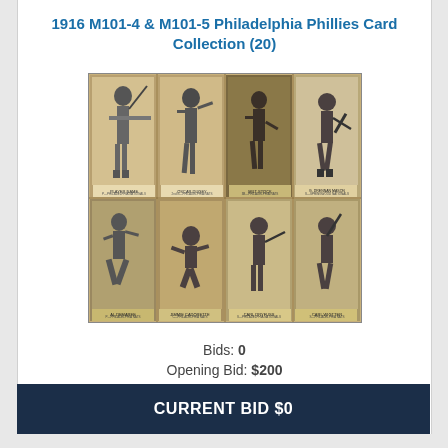1916 M101-4 & M101-5 Philadelphia Phillies Card Collection (20)
[Figure (photo): Collection of 8 vintage 1916 Philadelphia Phillies baseball cards arranged in a 4x2 grid. Black and white sepia-toned photos showing players in various batting and fielding poses with player name captions below each card.]
Bids: 0
Opening Bid: $200
Status: Open
CURRENT BID $0
197